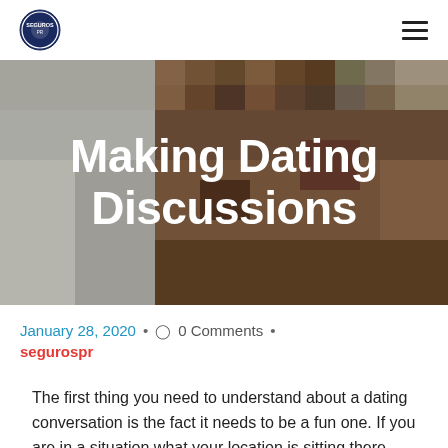[Figure (logo): Circular site logo badge in dark blue/navy]
[Figure (photo): Blurred/pixelated close-up photo of a person's face used as hero background]
Making Dating Discussions
January 28, 2020  •  0 Comments  •  segurospr
The first thing you need to understand about a dating conversation is the fact it needs to be a fun one. If you are in a situation what your location is sitting there merely staring at each other and speaking about nothing at all, afterward chances are that you'll end up